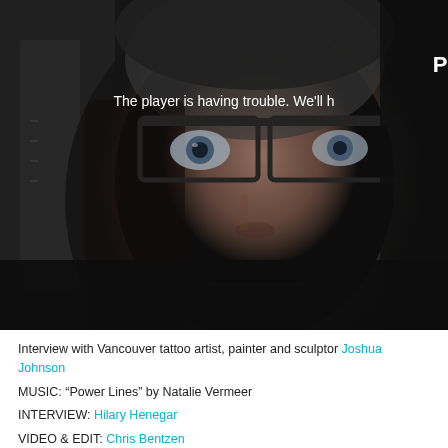[Figure (screenshot): Video player screenshot showing a close-up face of a man with glasses and short hair against a dark background. The player shows an error message: 'The player is having trouble. We'll h...' with a partial title visible at top right.]
Interview with Vancouver tattoo artist, painter and sculptor Joshua Johnson
MUSIC: “Power Lines” by Natalie Vermeer
INTERVIEW: Hilary Henegar
VIDEO & EDIT: Chris Bentzen